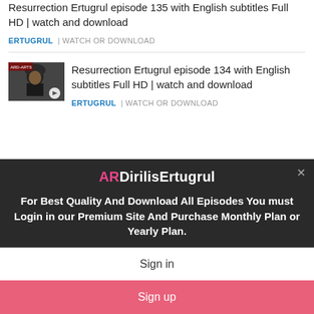Resurrection Ertugrul episode 135 with English subtitles Full HD | watch and download
ERTUGRUL | WATCH OR DOWNLOAD
[Figure (photo): Thumbnail image of a person wearing a fur hat, appears to be a still from the TV show Ertugrul, with a play button overlay]
Resurrection Ertugrul episode 134 with English subtitles Full HD | watch and download
ERTUGRUL | WATCH OR DOWNLOAD
ARDirilisErtugrul
For Best Quality And Download All Episodes You must Login in our Premium Site And Purchase Monthly Plan or Yearly Plan.
Sign in
Sign up